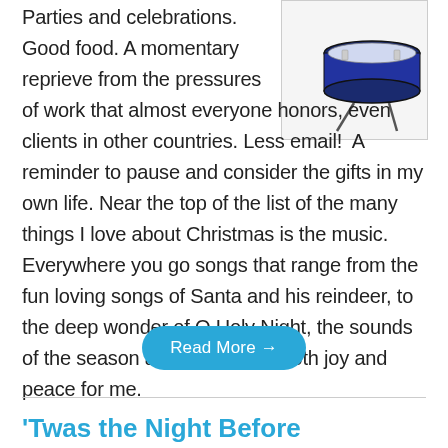[Figure (photo): A drum or similar round percussion instrument with blue/navy detail, photographed from above on a white background, partially visible in upper right corner.]
Parties and celebrations. Good food. A momentary reprieve from the pressures of work that almost everyone honors, even clients in other countries. Less email!  A reminder to pause and consider the gifts in my own life. Near the top of the list of the many things I love about Christmas is the music. Everywhere you go songs that range from the fun loving songs of Santa and his reindeer, to the deep wonder of O Holy Night, the sounds of the season are a source of both joy and peace for me.
Read More →
'Twas the Night Before